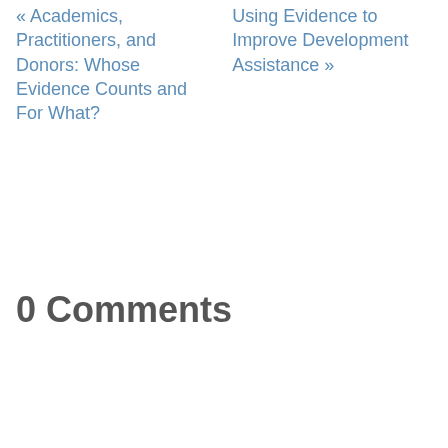« Academics, Practitioners, and Donors: Whose Evidence Counts and For What?
Using Evidence to Improve Development Assistance »
0 Comments